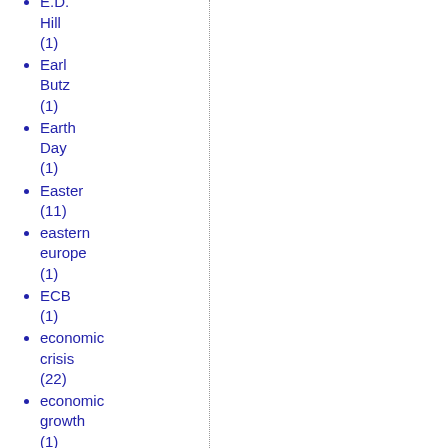(1)
E.D. Hill (1)
Earl Butz (1)
Earth Day (1)
Easter (11)
eastern europe (1)
ECB (1)
economic crisis (22)
economic growth (1)
economics (41)